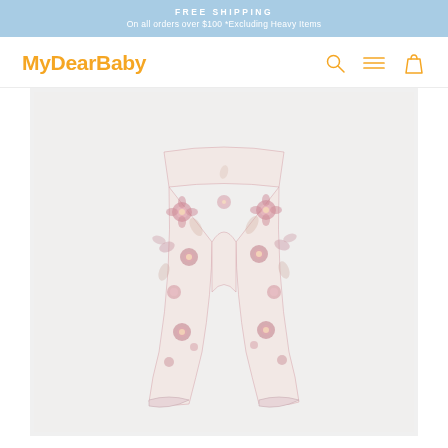FREE SHIPPING
On all orders over $100 *Excluding Heavy Items
[Figure (logo): MyDearBaby logo in orange with search, menu, and cart icons]
[Figure (photo): Baby floral print leggings with pink and cream floral pattern on light grey background]